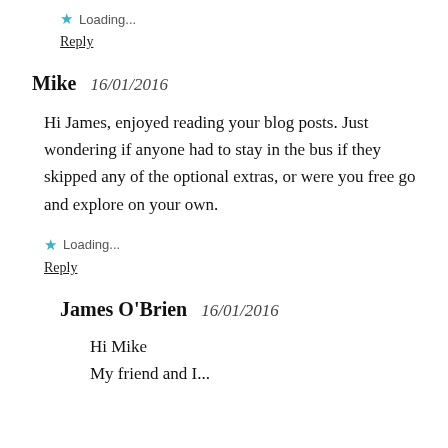★ Loading...
Reply
Mike   16/01/2016
Hi James, enjoyed reading your blog posts. Just wondering if anyone had to stay in the bus if they skipped any of the optional extras, or were you free go and explore on your own.
★ Loading...
Reply
James O'Brien   16/01/2016
Hi Mike
My friend and I ...